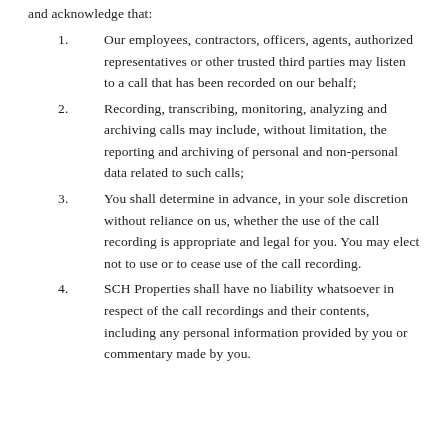and acknowledge that:
Our employees, contractors, officers, agents, authorized representatives or other trusted third parties may listen to a call that has been recorded on our behalf;
Recording, transcribing, monitoring, analyzing and archiving calls may include, without limitation, the reporting and archiving of personal and non-personal data related to such calls;
You shall determine in advance, in your sole discretion without reliance on us, whether the use of the call recording is appropriate and legal for you. You may elect not to use or to cease use of the call recording.
SCH Properties shall have no liability whatsoever in respect of the call recordings and their contents, including any personal information provided by you or commentary made by you.